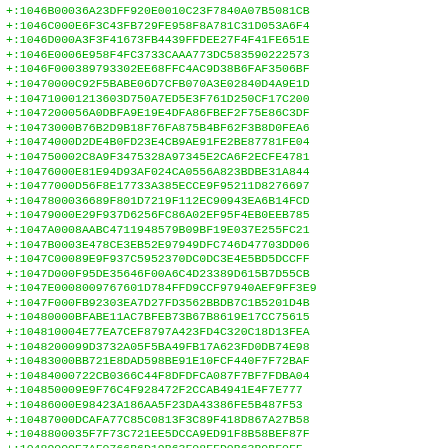+:1046B00036A23DFF920E0010C23F7840A07B5081CB
+:1046C000E6F3C43FB729FE958F8A781C31D053A6F4
+:1046D000A3F3F41673FB4439FFDEE27F4F41FE651E
+:1046E0006E958F4FC3733CAAA773DC583590222573
+:1046F000389793302EE68FFC4AC9D38B6FAF3506BF
+:10470000C92F5BABE06D7CFB070A3E02840D4A9E1D
+:1047100012136O3D750A7ED5E3F761D250CF17C200
+:1047200056A0DBFA9E19E4DFA86FBEF2F75E86C3DF
+:10473000B76B2D9B18F76FA875B4BF62F3B8D0FEA6
+:10474000D2DE4B0FD23E4CB9AE91FE2BE87781FE04
+:104750002C8A9F3475328A97345E2CA6F2ECFE4781
+:10476000E81E94D93AF024CA0556A823BDBE31A844
+:10477000D56F8E17733A385ECCE9F95211D8276697
+:1047800036689F801D7219F112EC90943EA6B14FCD
+:10479000E29F937D6256FC86A02EF95F4EB0EEB785
+:1047A0008AABC4711948579B09BF19E037E255FC21
+:1047B0003E478CE3EB52E97949DFC746D47703DD06
+:1047C00089E9F937C5952370DC0DC3E4E5BD5DCCFF
+:1047D000F95DE35646F00A6C4D23389D615B7D55CB
+:1047E00080097676O1D784FFD9CCF97940AEF9FF3E9
+:1047F000FB92303EA7D27FD3562BBDB7C1B5201D4B
+:10480000BFABE11AC7BFEB73B67B8619E17CC75615
+:104810004E77EA7CEF8797A423FD4C320C18D13FEA
+:1048200099D3732A05F5BA49FB17A623FD0DB74E98
+:10483000BB721E8DAD598BE91E10FCF440F7F72BAF
+:10484000722CB0366C44F8DFDFCA087F7BF7FDBA04
+:104850009E9F76C4F928472F2CCAB4941E4F7E777
+:10486000E98423A186AA5F23DA43386FE5B487F53
+:10487000DCAFA77C85C0813F3C89F418D867A27B58
+:1048800035F7F73C721EE5DCCA9ED91F8B58BEF87F
+:10489000E7AF0766B6D19B63F08EFD0B63B0BF0FF